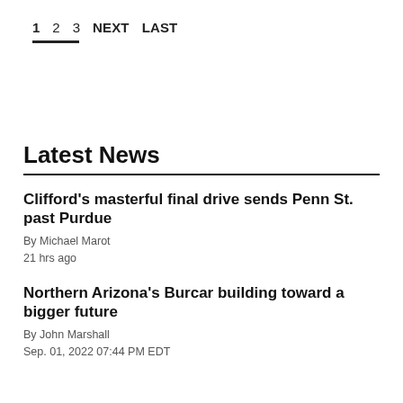1  2  3  NEXT  LAST
Latest News
Clifford's masterful final drive sends Penn St. past Purdue
By Michael Marot
21 hrs ago
Northern Arizona's Burcar building toward a bigger future
By John Marshall
Sep. 01, 2022 07:44 PM EDT